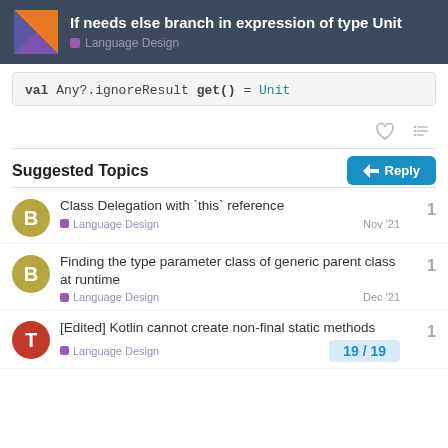If needs else branch in expression of type Unit — Language Design
val Any?.ignoreResult get() = Unit
Suggested Topics
Class Delegation with `this` reference
Language Design Nov '21 — 1 reply
Finding the type parameter class of generic parent class at runtime
Language Design Dec '21 — 1 reply
[Edited] Kotlin cannot create non-final static methods
Language Design — 1 reply
19 / 19